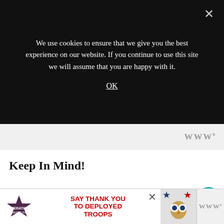We use cookies to ensure that we give you the best experience on our website. If you continue to use this site we will assume that you are happy with it.
OK
Keep In Mind!
One tip is to create an account with the supplier. Creating an account with a supplier can often get you access to better prices and deals.
Another tip is to...
[Figure (screenshot): Advertisement banner: Operation Gratitude - SAY THANK YOU TO DEPLOYED TROOPS]
[Figure (logo): Website logo/watermark in top right of nav strip]